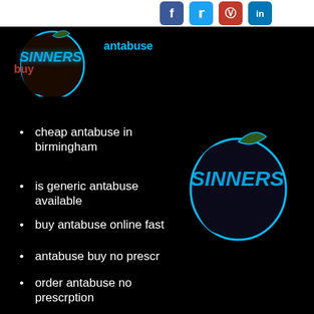[Figure (logo): Social media icons for Facebook, Twitter, Instagram, LinkedIn in a white header bar]
[Figure (logo): Sinners apple logo (small, top-left) with glowing blue SINNERS text and apple silhouette]
antabuse
buy
cheap antabuse in birmingham
is generic antabuse available
[Figure (logo): Sinners apple logo (large, center-right) with glowing blue SINNERS text and apple silhouette]
buy antabuse online fast
antabuse buy no prescr
order antabuse no prescrption
online pharmacy buy antabuse
cheap antabuse prescription
purchase antabuse